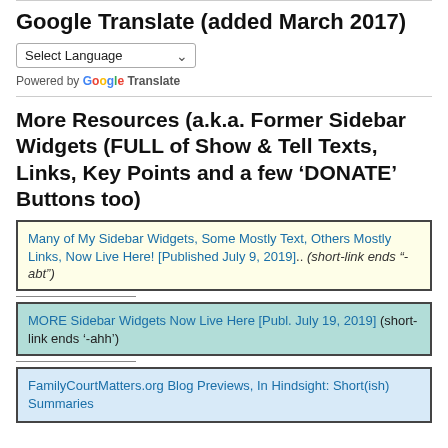Google Translate (added March 2017)
[Figure (other): Select Language dropdown widget with chevron arrow]
Powered by Google Translate
More Resources (a.k.a. Former Sidebar Widgets (FULL of Show & Tell Texts, Links, Key Points and a few ‘DONATE’ Buttons too)
Many of My Sidebar Widgets, Some Mostly Text, Others Mostly Links, Now Live Here! [Published July 9, 2019].. (short-link ends “-abt”)
MORE Sidebar Widgets Now Live Here [Publ. July 19, 2019] (short-link ends ‘-ahh’)
FamilyCourtMatters.org Blog Previews, In Hindsight: Short(ish) Summaries